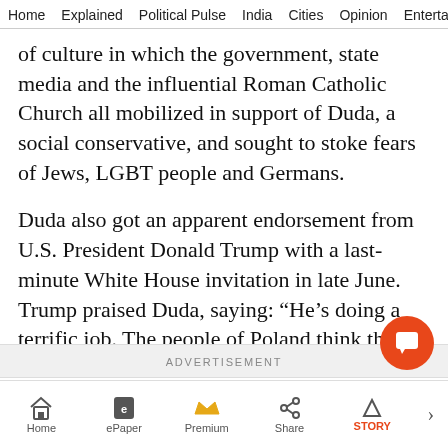Home  Explained  Political Pulse  India  Cities  Opinion  Entertainment
of culture in which the government, state media and the influential Roman Catholic Church all mobilized in support of Duda, a social conservative, and sought to stoke fears of Jews, LGBT people and Germans.
Duda also got an apparent endorsement from U.S. President Donald Trump with a last-minute White House invitation in late June. Trump praised Duda, saying: “He’s doing a terrific job. The people of Poland think the world of him.”
ADVERTISEMENT
Home  ePaper  Premium  Share  STORY